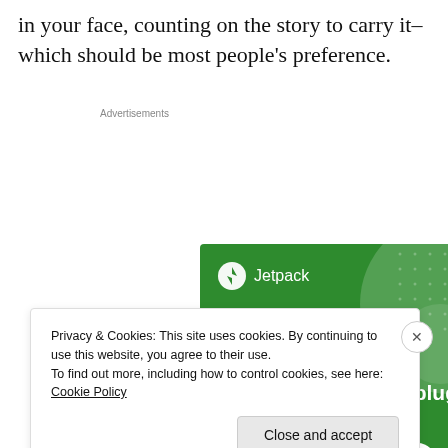in your face, counting on the story to carry it–which should be most people's preference.
Advertisements
[Figure (screenshot): Jetpack advertisement banner with green background showing 'The best real-time WordPress backup plugin' with a 'Back up your site' button.]
Privacy & Cookies: This site uses cookies. By continuing to use this website, you agree to their use.
To find out more, including how to control cookies, see here: Cookie Policy
Close and accept